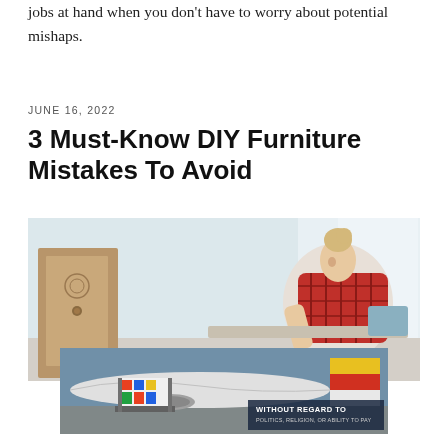jobs at hand when you don't have to worry about potential mishaps.
JUNE 16, 2022
3 Must-Know DIY Furniture Mistakes To Avoid
[Figure (photo): A woman with blonde hair in a bun wearing a red plaid shirt, leaning over and working on furniture assembly in a bright room with a wooden cabinet in the background.]
[Figure (photo): Advertisement image showing cargo being loaded onto an airplane on a tarmac, with text overlay reading 'WITHOUT REGARD TO POLITICS, RELIGION, OR ABILITY TO PAY']